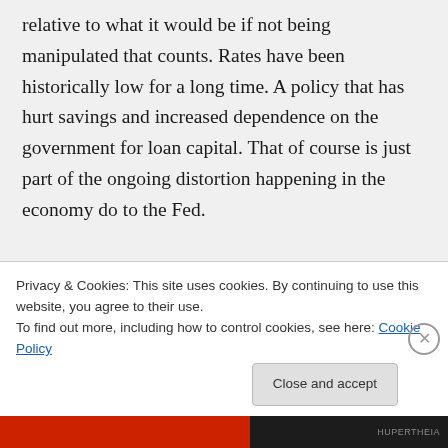relative to what it would be if not being manipulated that counts. Rates have been historically low for a long time. A policy that has hurt savings and increased dependence on the government for loan capital. That of course is just part of the ongoing distortion happening in the economy do to the Fed.
I would agree with you also in a way on the housing and tech bubbles. The two are
Privacy & Cookies: This site uses cookies. By continuing to use this website, you agree to their use.
To find out more, including how to control cookies, see here: Cookie Policy
Close and accept